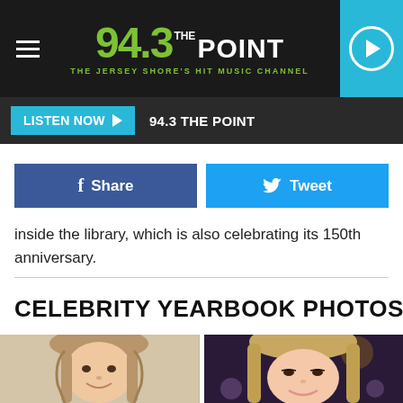94.3 THE POINT - THE JERSEY SHORE'S HIT MUSIC CHANNEL
LISTEN NOW ▶  94.3 THE POINT
f  Share
Tweet
inside the library, which is also celebrating its 150th anniversary.
CELEBRITY YEARBOOK PHOTOS
[Figure (photo): Two side-by-side photos: left shows a young girl with braided hair (childhood photo), right shows a young woman with blonde bangs smiling (current photo). Celebrity yearbook comparison photos.]